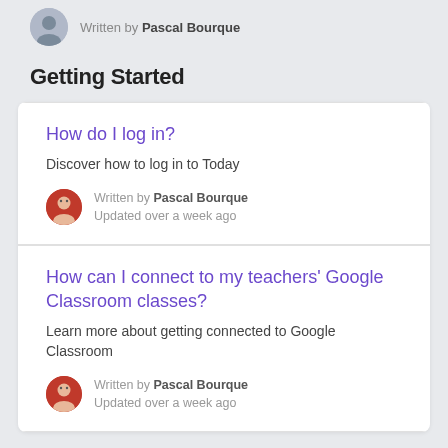Written by Pascal Bourque
Getting Started
How do I log in?
Discover how to log in to Today
Written by Pascal Bourque
Updated over a week ago
How can I connect to my teachers' Google Classroom classes?
Learn more about getting connected to Google Classroom
Written by Pascal Bourque
Updated over a week ago